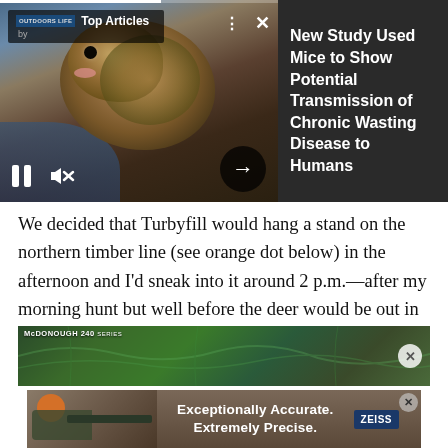[Figure (screenshot): Video player showing a close-up photo of a mouse/rodent being held in a hand, with video controls (pause, mute), a progress bar, and Top Articles overlay banner. Right panel shows dark background with white article title text.]
New Study Used Mice to Show Potential Transmission of Chronic Wasting Disease to Humans
We decided that Turbyfill would hang a stand on the northern timber line (see orange dot below) in the afternoon and I'd sneak into it around 2 p.m.—after my morning hunt but well before the deer would be out in the field feeding for the night (don't feel bad for Turbyfill, he already took a great buck this season).
[Figure (screenshot): Partial view of a hunting map (McDonough 240 series) showing terrain in green tones, partially visible at the bottom of the page.]
[Figure (screenshot): Advertisement banner: 'Exceptionally Accurate. Extremely Precise.' with Zeiss logo and a close-up of a person aiming a rifle with a scope.]